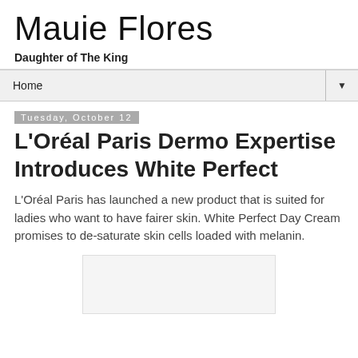Mauie Flores
Daughter of The King
Home
Tuesday, October 12
L'Oréal Paris Dermo Expertise Introduces White Perfect
L'Oréal Paris has launched a new product that is suited for ladies who want to have fairer skin. White Perfect Day Cream promises to de-saturate skin cells loaded with melanin.
[Figure (other): Image placeholder rectangle at bottom of page]